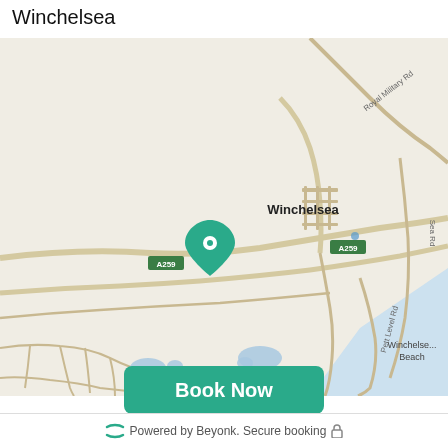Winchelsea
[Figure (map): Google Maps view of Winchelsea area showing roads A259, Royal Military Rd, Sea Rd, Pett Level Rd, Winchelsea town label, Winchelsea Beach label, and a teal location pin marker in the center-left of the map. Blue water body visible at bottom right.]
Book Now
Powered by Beyonk. Secure booking